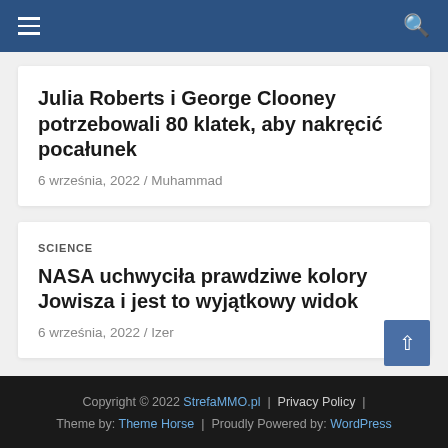Navigation bar with hamburger menu and search icon
Julia Roberts i George Clooney potrzebowali 80 klatek, aby nakręcić pocałunek
6 września, 2022 / Muhammad
SCIENCE
NASA uchwyciła prawdziwe kolory Jowisza i jest to wyjątkowy widok
6 września, 2022 / Izer
Copyright © 2022 StrefaMMO.pl | Privacy Policy | Theme by: Theme Horse | Proudly Powered by: WordPress